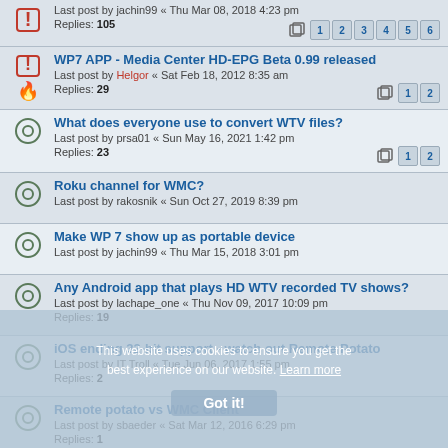Last post by jachin99 « Thu Mar 08, 2018 4:23 pm
Replies: 105
Pages: 1 2 3 4 5 6
WP7 APP - Media Center HD-EPG Beta 0.99 released
Last post by Helgor « Sat Feb 18, 2012 8:35 am
Replies: 29
Pages: 1 2
What does everyone use to convert WTV files?
Last post by prsa01 « Sun May 16, 2021 1:42 pm
Replies: 23
Pages: 1 2
Roku channel for WMC?
Last post by rakosnik « Sun Oct 27, 2019 8:39 pm
Make WP 7 show up as portable device
Last post by jachin99 « Thu Mar 15, 2018 3:01 pm
Any Android app that plays HD WTV recorded TV shows?
Last post by lachape_one « Thu Nov 09, 2017 10:09 pm
Replies: 19
iOS ending 32-bit support - watch out Remote Potato
Last post by IT Troll « Tue Jun 06, 2017 1:55 pm
Replies: 2
Remote potato vs WMC Client
Last post by sbaeder « Sat Mar 12, 2016 6:29 pm
Replies: 1
Coexisting software?
Last post by redstar92 « Sat Sep 06, 2014 2:44 pm
Replies: 1